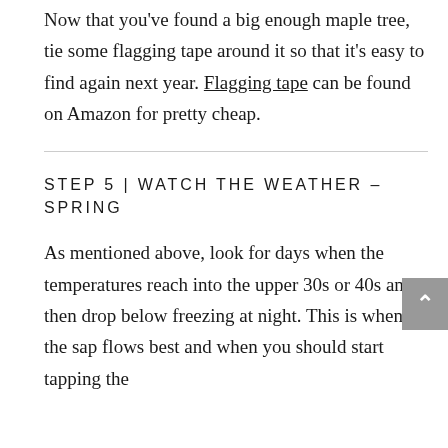Now that you've found a big enough maple tree, tie some flagging tape around it so that it's easy to find again next year. Flagging tape can be found on Amazon for pretty cheap.
STEP 5 | WATCH THE WEATHER – SPRING
As mentioned above, look for days when the temperatures reach into the upper 30s or 40s and then drop below freezing at night. This is when the sap flows best and when you should start tapping the